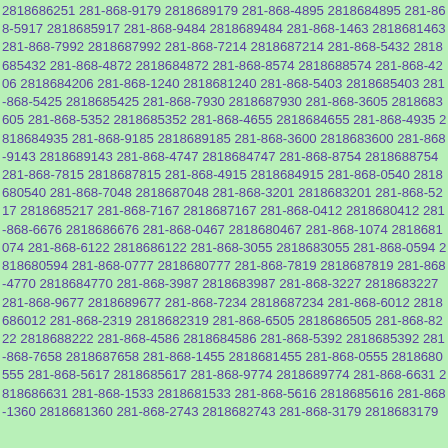2818686251 281-868-9179 2818689179 281-868-4895 2818684895 281-868-5917 2818685917 281-868-9484 2818689484 281-868-1463 2818681463 281-868-7992 2818687992 281-868-7214 2818687214 281-868-5432 2818685432 281-868-4872 2818684872 281-868-8574 2818688574 281-868-4206 2818684206 281-868-1240 2818681240 281-868-5403 2818685403 281-868-5425 2818685425 281-868-7930 2818687930 281-868-3605 2818683605 281-868-5352 2818685352 281-868-4655 2818684655 281-868-4935 2818684935 281-868-9185 2818689185 281-868-3600 2818683600 281-868-9143 2818689143 281-868-4747 2818684747 281-868-8754 2818688754 281-868-7815 2818687815 281-868-4915 2818684915 281-868-0540 2818680540 281-868-7048 2818687048 281-868-3201 2818683201 281-868-5217 2818685217 281-868-7167 2818687167 281-868-0412 2818680412 281-868-6676 2818686676 281-868-0467 2818680467 281-868-1074 2818681074 281-868-6122 2818686122 281-868-3055 2818683055 281-868-0594 2818680594 281-868-0777 2818680777 281-868-7819 2818687819 281-868-4770 2818684770 281-868-3987 2818683987 281-868-3227 2818683227 281-868-9677 2818689677 281-868-7234 2818687234 281-868-6012 2818686012 281-868-2319 2818682319 281-868-6505 2818686505 281-868-8222 2818688222 281-868-4586 2818684586 281-868-5392 2818685392 281-868-7658 2818687658 281-868-1455 2818681455 281-868-0555 2818680555 281-868-5617 2818685617 281-868-9774 2818689774 281-868-6631 2818686631 281-868-1533 2818681533 281-868-5616 2818685616 281-868-1360 2818681360 281-868-2743 2818682743 281-868-3179 2818683179